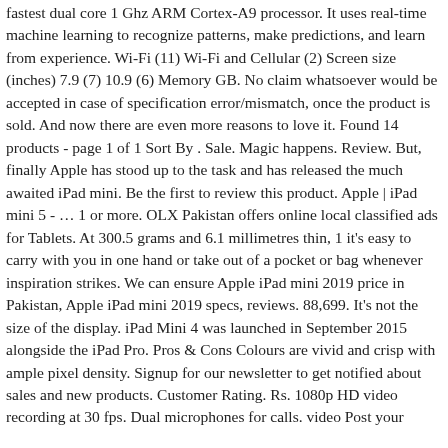fastest dual core 1 Ghz ARM Cortex-A9 processor. It uses real-time machine learning to recognize patterns, make predictions, and learn from experience. Wi-Fi (11) Wi-Fi and Cellular (2) Screen size (inches) 7.9 (7) 10.9 (6) Memory GB. No claim whatsoever would be accepted in case of specification error/mismatch, once the product is sold. And now there are even more reasons to love it. Found 14 products - page 1 of 1 Sort By . Sale. Magic happens. Review. But, finally Apple has stood up to the task and has released the much awaited iPad mini. Be the first to review this product. Apple | iPad mini 5 - … 1 or more. OLX Pakistan offers online local classified ads for Tablets. At 300.5 grams and 6.1 millimetres thin, 1 it's easy to carry with you in one hand or take out of a pocket or bag whenever inspiration strikes. We can ensure Apple iPad mini 2019 price in Pakistan, Apple iPad mini 2019 specs, reviews. 88,699. It's not the size of the display. iPad Mini 4 was launched in September 2015 alongside the iPad Pro. Pros & Cons Colours are vivid and crisp with ample pixel density. Signup for our newsletter to get notified about sales and new products. Customer Rating. Rs. 1080p HD video recording at 30 fps. Dual microphones for calls. video Post your